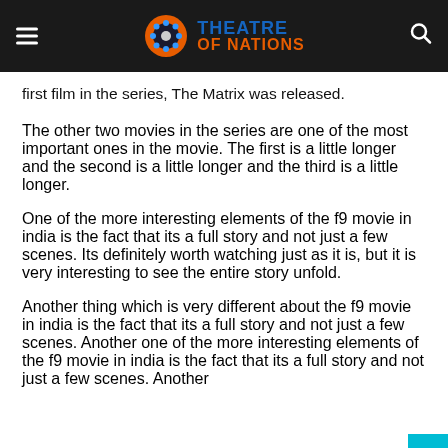[Figure (logo): Theatre of Nations logo with film reel icon on dark header bar with hamburger menu and search icon]
first film in the series, The Matrix was released.
The other two movies in the series are one of the most important ones in the movie. The first is a little longer and the second is a little longer and the third is a little longer.
One of the more interesting elements of the f9 movie in india is the fact that its a full story and not just a few scenes. Its definitely worth watching just as it is, but it is very interesting to see the entire story unfold.
Another thing which is very different about the f9 movie in india is the fact that its a full story and not just a few scenes. Another one of the more interesting elements of the f9 movie in india is the fact that its a full story and not just a few scenes. Another